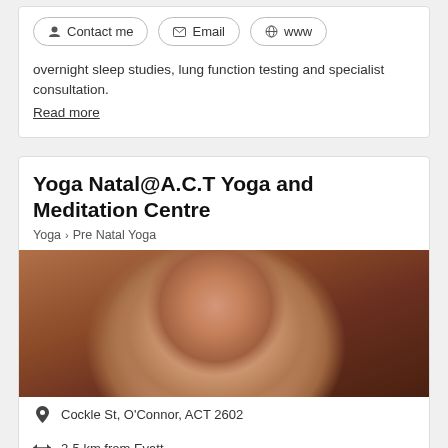Contact me | Email | www
overnight sleep studies, lung function testing and specialist consultation. Read more
Yoga Natal@A.C.T Yoga and Meditation Centre
Yoga > Pre Natal Yoga
[Figure (photo): Close-up photo of a smiling middle-aged woman with dark hair, wearing a beaded necklace and light-colored top]
Cockle St, O'Connor, ACT 2602
2-5 km from Evatt